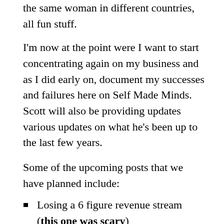the same woman in different countries, all fun stuff.
I'm now at the point were I want to start concentrating again on my business and as I did early on, document my successes and failures here on Self Made Minds. Scott will also be providing updates various updates on what he's been up to the last few years.
Some of the upcoming posts that we have planned include:
Losing a 6 figure revenue stream (this one was scary)
Do you need to register for VAT, the procedure and outcome of a VAT Compliance Audit
Profiting from generic twitter usernames
Maximizing mobile traffic and profit